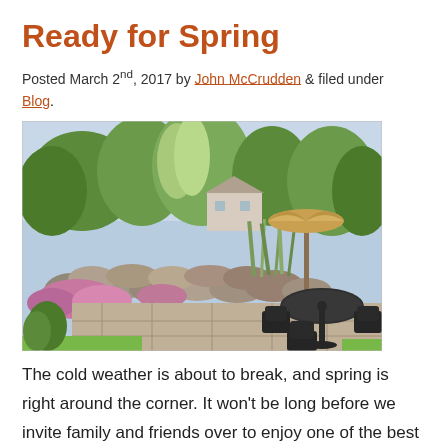Ready for Spring
Posted March 2nd, 2017 by John McCrudden & filed under Blog.
[Figure (photo): A lush backyard garden scene with a stone patio, wrought iron table and chairs, a closed tan umbrella, colorful blooming plants, tall grasses, large rocks forming a retaining wall, and green trees in the background.]
The cold weather is about to break, and spring is right around the corner. It won't be long before we invite family and friends over to enjoy one of the best parts of the house